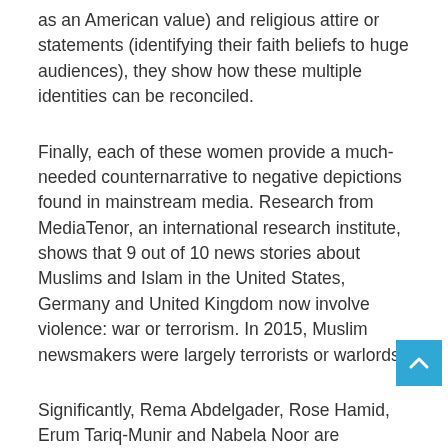as an American value) and religious attire or statements (identifying their faith beliefs to huge audiences), they show how these multiple identities can be reconciled.
Finally, each of these women provide a much-needed counternarrative to negative depictions found in mainstream media. Research from MediaTenor, an international research institute, shows that 9 out of 10 news stories about Muslims and Islam in the United States, Germany and United Kingdom now involve violence: war or terrorism. In 2015, Muslim newsmakers were largely terrorists or warlords.
Significantly, Rema Abdelgader, Rose Hamid, Erum Tariq-Munir and Nabela Noor are representative of the peaceful majority of American Muslims whose stories don't always make our TV or computer screens. Everyday